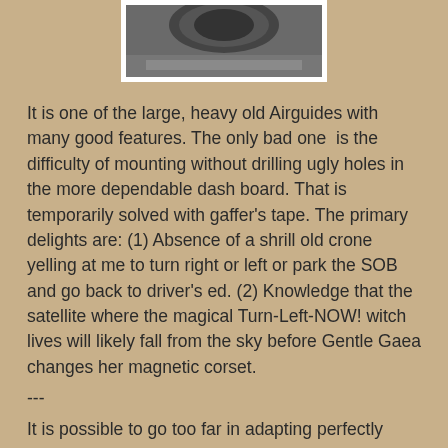[Figure (photo): Partial view of a large Airguide compass or instrument, grayscale, showing a circular dial on a wooden surface]
It is one of the large, heavy old Airguides with many good features. The only bad one  is the difficulty of mounting without drilling ugly holes in the more dependable dash board. That is temporarily solved with gaffer's tape. The primary delights are: (1) Absence of a shrill old crone yelling at me to turn right or left or park the SOB and go back to driver's ed. (2) Knowledge that the satellite where the magical Turn-Left-NOW! witch lives will likely fall from the sky before Gentle Gaea changes her magnetic corset.
---
It is possible to go too far in adapting perfectly good retrotechnology to land-borne vessels. But it would be fun to try.
[Figure (photo): Partial view of a wooden dashboard with vintage instruments, warm amber/gold tones]